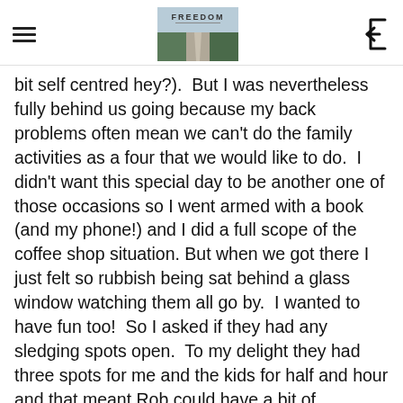FREEDOM [logo with road image]
bit self centred hey?).  But I was nevertheless fully behind us going because my back problems often mean we can't do the family activities as a four that we would like to do.  I didn't want this special day to be another one of those occasions so I went armed with a book (and my phone!) and I did a full scope of the coffee shop situation. But when we got there I just felt so rubbish being sat behind a glass window watching them all go by.  I wanted to have fun too!  So I asked if they had any sledging spots open.  To my delight they had three spots for me and the kids for half and hour and that meant Rob could have a bit of